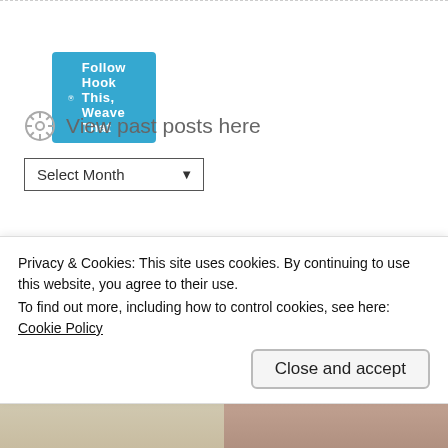[Figure (screenshot): WordPress Follow button with 'Follow Hook This, Weave That' text on teal/blue background]
View past posts here
[Figure (screenshot): Select Month dropdown selector with border]
Blogs I Follow
[Figure (photo): Two blog thumbnail images side by side: left is a grey placeholder with WordPress icon, right shows a bowl of red apples]
Privacy & Cookies: This site uses cookies. By continuing to use this website, you agree to their use.
To find out more, including how to control cookies, see here: Cookie Policy
[Figure (screenshot): Close and accept button]